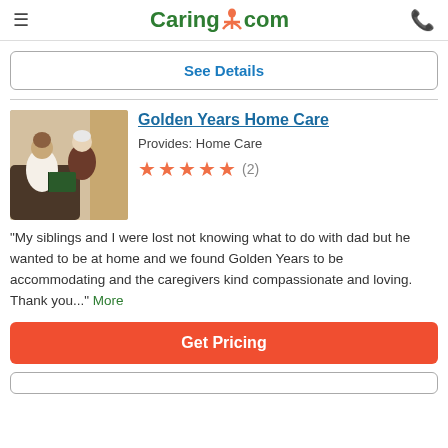Caring.com
See Details
Golden Years Home Care
Provides: Home Care
★★★★★ (2)
[Figure (photo): A caregiver sitting with an elderly woman, reading together in a home setting.]
"My siblings and I were lost not knowing what to do with dad but he wanted to be at home and we found Golden Years to be accommodating and the caregivers kind compassionate and loving. Thank you..." More
Get Pricing
See Details